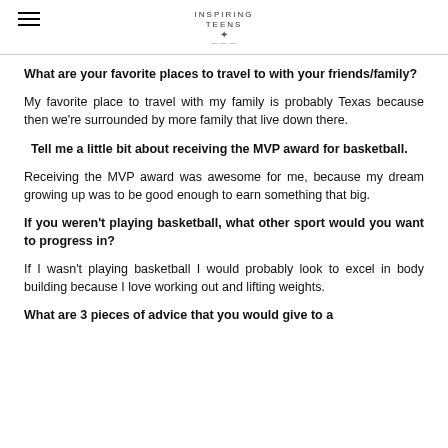INSPIRING TEENS
What are your favorite places to travel to with your friends/family?
My favorite place to travel with my family is probably Texas because then we’re surrounded by more family that live down there.
Tell me a little bit about receiving the MVP award for basketball.
Receiving the MVP award was awesome for me, because my dream growing up was to be good enough to earn something that big.
If you weren’t playing basketball, what other sport would you want to progress in?
If I wasn’t playing basketball I would probably look to excel in body building because I love working out and lifting weights.
What are 3 pieces of advice that you would give to a